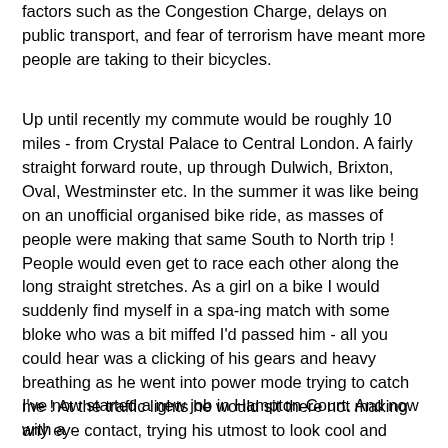factors such as the Congestion Charge, delays on public transport, and fear of terrorism have meant more people are taking to their bicycles.
Up until recently my commute would be roughly 10 miles - from Crystal Palace to Central London. A fairly straight forward route, up through Dulwich, Brixton, Oval, Westminster etc. In the summer it was like being on an unofficial organised bike ride, as masses of people were making that same South to North trip ! People would even get to race each other along the long straight stretches. As a girl on a bike I would suddenly find myself in a spa-ing match with some bloke who was a bit miffed I'd passed him - all you could hear was a clicking of his gears and heavy breathing as he went into power mode trying to catch me ! At the traffic lights he would sit there not making any eye contact, trying his utmost to look cool and unfatigued. But in fact he was knackered and mulling in his mind tac-tics on how to get ahead of me. All I was doing was just riding around at a steady pace trying to get to work ! All good fun.
I've now started a new job in Hampton Court. And now with a